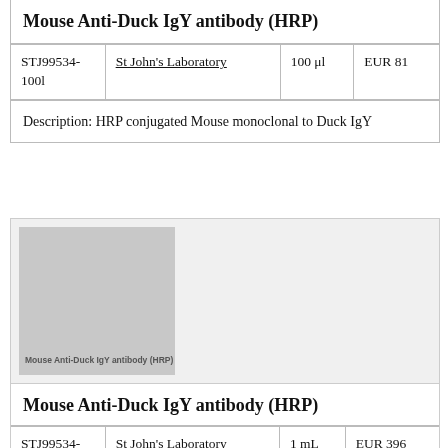Mouse Anti-Duck IgY antibody (HRP)
| STJ99534-100l | St John's Laboratory | 100 μl | EUR 81 |
Description: HRP conjugated Mouse monoclonal to Duck IgY
[Figure (photo): Gray placeholder thumbnail for Mouse Anti-Duck IgY antibody (HRP) product image]
Mouse Anti-Duck IgY antibody (HRP)
| STJ99534-1mL | St John's Laboratory | 1 mL | EUR 396 |